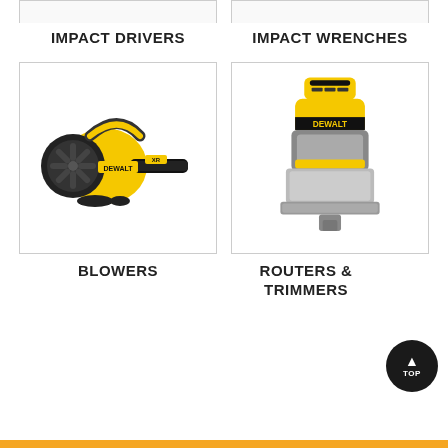IMPACT DRIVERS
[Figure (photo): Top portion of an Impact Driver product image (partially visible at top of page)]
IMPACT WRENCHES
[Figure (photo): Top portion of an Impact Wrench product image (partially visible at top of page)]
[Figure (photo): DeWalt yellow and black cordless blower on white background]
BLOWERS
[Figure (photo): DeWalt yellow and silver cordless router/trimmer on white background]
ROUTERS & TRIMMERS